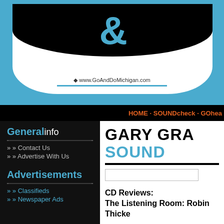[Figure (logo): GO&DO logo with black arch, white tab shape, cyan ampersand, and website URL www.GoAndDoMichigan.com with cyan underline on blue background]
HOME · SOUNDcheck · GOhea...
Generalinfo
» Contact Us
» Advertise With Us
Advertisements
» Classifieds
» Newspaper Ads
GARY GRA... SOUND...
CD Reviews:
The Listening Room: Robin Thicke...